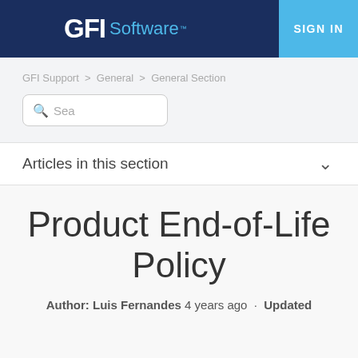GFI Software™  SIGN IN
GFI Support > General > General Section
[Figure (screenshot): Search box with magnifying glass icon and placeholder text 'Sea']
Articles in this section
Product End-of-Life Policy
Author: Luis Fernandes 4 years ago · Updated